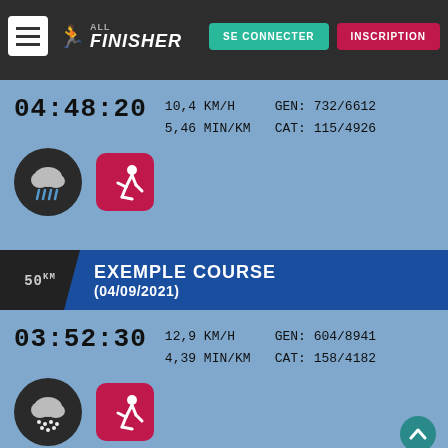[Figure (screenshot): AllFinisher website header with logo, SE CONNECTER and INSCRIPTION buttons]
04:48:20  10,4 KM/H  GEN: 732/6612
5,46 MIN/KM  CAT: 115/4926
[Figure (illustration): Weather rain cloud icon and running figure icon (pink/red app icon)]
EXEMPLE COURSE (04/09/2021) — 50km
03:52:30  12,9 KM/H  GEN: 604/8941
4,39 MIN/KM  CAT: 158/4182
[Figure (illustration): Weather rain cloud icon and running figure icon (pink/red app icon), plus scroll-up button]
[Figure (illustration): BitLife ad banner: WHEN REAL LIFE IS QUARANTINED with emoji characters]